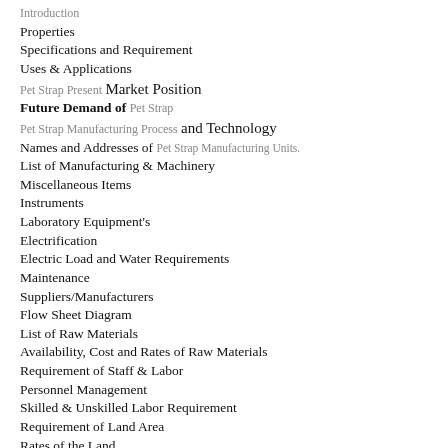Introduction
Properties
Specifications and Requirement
Uses & Applications
Pet Strap Present Market Position
Future Demand of Pet Strap
Pet Strap Manufacturing Process and Technology
Names and Addresses of Pet Strap Manufacturing Units.
List of Manufacturing & Machinery
Miscellaneous Items
Instruments
Laboratory Equipment's
Electrification
Electric Load and Water Requirements
Maintenance
Suppliers/Manufacturers
Flow Sheet Diagram
List of Raw Materials
Availability, Cost and Rates of Raw Materials
Requirement of Staff & Labor
Personnel Management
Skilled & Unskilled Labor Requirement
Requirement of Land Area
Rates of the Land